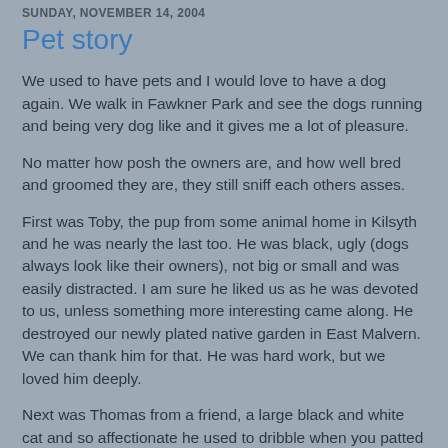SUNDAY, NOVEMBER 14, 2004
Pet story
We used to have pets and I would love to have a dog again. We walk in Fawkner Park and see the dogs running and being very dog like and it gives me a lot of pleasure.
No matter how posh the owners are, and how well bred and groomed they are, they still sniff each others asses.
First was Toby, the pup from some animal home in Kilsyth and he was nearly the last too. He was black, ugly (dogs always look like their owners), not big or small and was easily distracted. I am sure he liked us as he was devoted to us, unless something more interesting came along. He destroyed our newly plated native garden in East Malvern. We can thank him for that. He was hard work, but we loved him deeply.
Next was Thomas from a friend, a large black and white cat and so affectionate he used to dribble when you patted and stroked him. We were very fond of him too and he got on